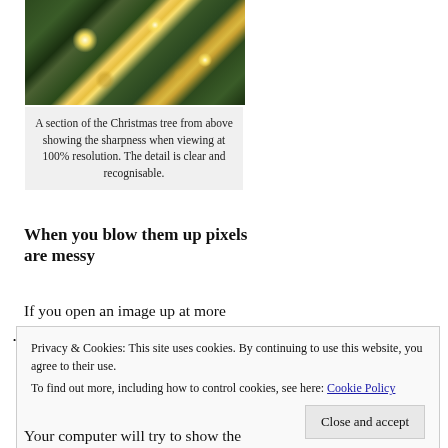[Figure (photo): A close-up photo of a Christmas tree with golden ornaments and lights visible among green pine branches, taken from above.]
A section of the Christmas tree from above showing the sharpness when viewing at 100% resolution. The detail is clear and recognisable.
When you blow them up pixels are messy
If you open an image up at more than one hundred percent you are asking the computer to lie to you. An
Privacy & Cookies: This site uses cookies. By continuing to use this website, you agree to their use.
To find out more, including how to control cookies, see here: Cookie Policy
Your computer will try to show the